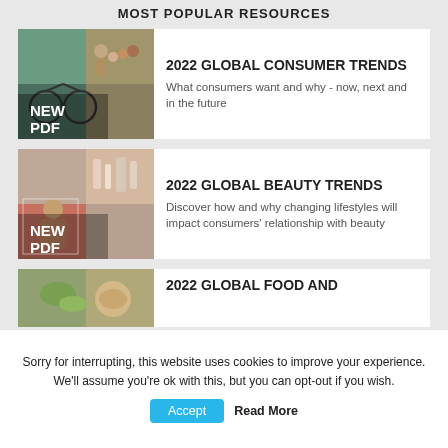MOST POPULAR RESOURCES
[Figure (photo): Collage of lifestyle images with teal and warm tones, showing people and a bicycle, with NEW PDF badge overlay]
2022 GLOBAL CONSUMER TRENDS
What consumers want and why - now, next and in the future
[Figure (photo): Collage of beauty/lifestyle product images with pink and warm tones, with NEW PDF badge overlay]
2022 GLOBAL BEAUTY TRENDS
Discover how and why changing lifestyles will impact consumers' relationship with beauty
[Figure (photo): Food-related image, partial view]
2022 GLOBAL FOOD AND
Sorry for interrupting, this website uses cookies to improve your experience. We'll assume you're ok with this, but you can opt-out if you wish.